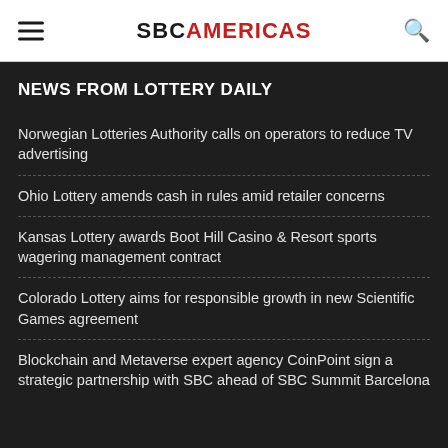SBC AMERICAS
NEWS FROM LOTTERY DAILY
Norwegian Lotteries Authority calls on operators to reduce TV advertising
Ohio Lottery amends cash in rules amid retailer concerns
Kansas Lottery awards Boot Hill Casino & Resort sports wagering management contract
Colorado Lottery aims for responsible growth in new Scientific Games agreement
Blockchain and Metaverse expert agency CoinPoint sign a strategic partnership with SBC ahead of SBC Summit Barcelona